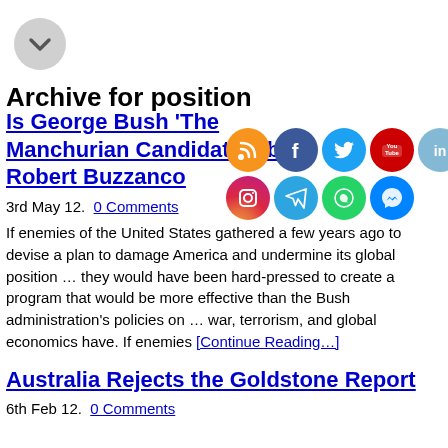[Figure (other): Gray circular chevron/dropdown button]
Archive for position
Is George Bush ‘The Manchurian Candidate?’ by Robert Buzzanco
3rd May 12. 0 Comments
[Figure (infographic): Social media sharing icons: RSS (orange), Facebook (blue), Twitter (blue), YouTube (red), LinkedIn (light blue), Instagram (gradient), Telegram (blue), WhatsApp (green), Messenger (blue)]
If enemies of the United States gathered a few years ago to devise a plan to damage America and undermine its global position … they would have been hard-pressed to create a program that would be more effective than the Bush administration’s policies on … war, terrorism, and global economics have. If enemies [Continue Reading…]
Australia Rejects the Goldstone Report
6th Feb 12. 0 Comments